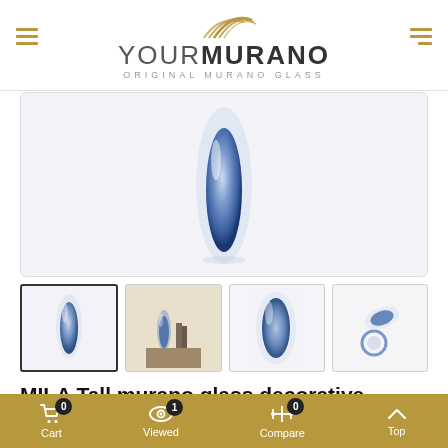YourMurano - Original Murano Glass
[Figure (photo): Main product photo area showing a blue sommerso glass vase on light background]
[Figure (photo): Four product thumbnail images of the MILA Tall Murano glass vase from different angles: front isolated, lifestyle, close-up top, and lying down]
MILA Tall murano glass decorative modern vase
Elongated "sommerso" glass modern vase. A Murano glass vase that completes any home space decoration of your...
Cart 0  Viewed 1  Compare 0  Top